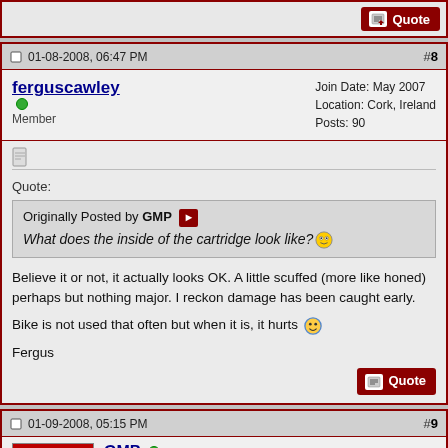[Figure (screenshot): Top quote button bar from previous post]
01-08-2008, 06:47 PM   #8
ferguscawley   Join Date: May 2007
Member   Location: Cork, Ireland
   Posts: 90
Quote:
Originally Posted by GMP
What does the inside of the cartridge look like?
Believe it or not, it actually looks OK. A little scuffed (more like honed) perhaps but nothing major. I reckon damage has been caught early.

Bike is not used that often but when it is, it hurts

Fergus
01-09-2008, 05:15 PM   #9
GMP   Join Date: Jul 2006
   Location: Jefferson Twp., NJ
   Posts: 7,597